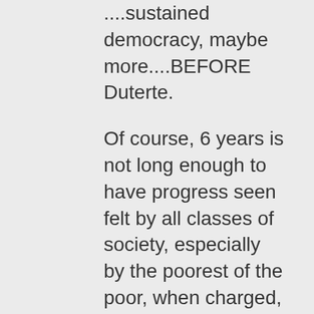....sustained democracy, maybe more....BEFORE Duterte.
Of course, 6 years is not long enough to have progress seen felt by all classes of society, especially by the poorest of the poor, when charged, corrupt individuals are enjoying due process, democracy on their side.
Now, tell me, in a Duterte Philippines, do you feel n believe democracy is alive